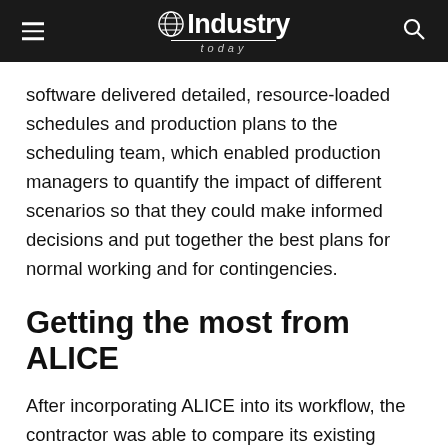Industry Today
software delivered detailed, resource-loaded schedules and production plans to the scheduling team, which enabled production managers to quantify the impact of different scenarios so that they could make informed decisions and put together the best plans for normal working and for contingencies.
Getting the most from ALICE
After incorporating ALICE into its workflow, the contractor was able to compare its existing solutions with those ALICE created. It found that the solutions produced by ALICE were invariably superior, making it possible to revise and improve the project plans and to get the wor...